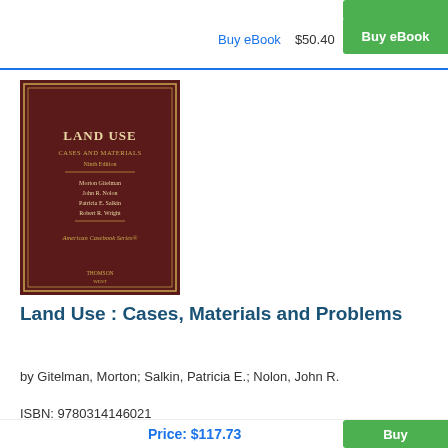Buy eBook   $50.40
[Figure (photo): Book cover of 'Land Use: Cases and Materials, Ninth Edition' by Morton Gitelman, John R. Nolon, Patricia E. Salkin, Robert R. Wright. American Casebook Series. Dark maroon/burgundy cover with gold border.]
Land Use : Cases, Materials and Problems
by Gitelman, Morton; Salkin, Patricia E.; Nolon, John R.
ISBN: 9780314146021
Copyright: 12/01/2003
Hardcover